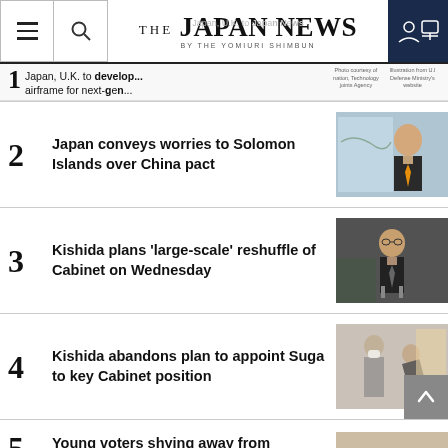THE JAPAN NEWS BY THE YOMIURI SHIMBUN
1 Japan, U.K. to develop... airframe for next-gen...
2 Japan conveys worries to Solomon Islands over China pact
3 Kishida plans 'large-scale' reshuffle of Cabinet on Wednesday
4 Kishida abandons plan to appoint Suga to key Cabinet position
5 Young voters shying away from